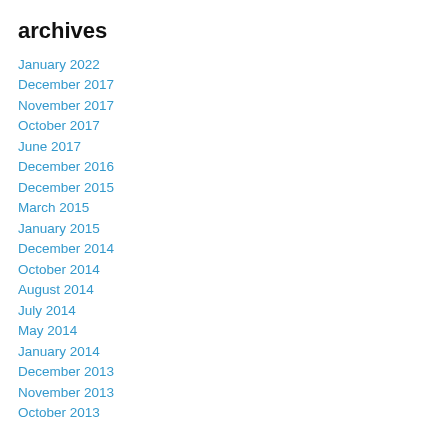archives
January 2022
December 2017
November 2017
October 2017
June 2017
December 2016
December 2015
March 2015
January 2015
December 2014
October 2014
August 2014
July 2014
May 2014
January 2014
December 2013
November 2013
October 2013